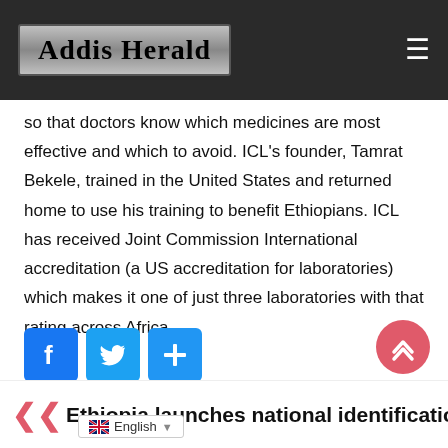Addis Herald
so that doctors know which medicines are most effective and which to avoid. ICL's founder, Tamrat Bekele, trained in the United States and returned home to use his training to benefit Ethiopians. ICL has received Joint Commission International accreditation (a US accreditation for laboratories) which makes it one of just three laboratories with that rating across Africa
[Figure (other): Social sharing buttons: Facebook, Twitter, Share (plus icon)]
[Figure (other): Scroll-to-top button (pink circle with upward chevron)]
Ethiopia launches national identification